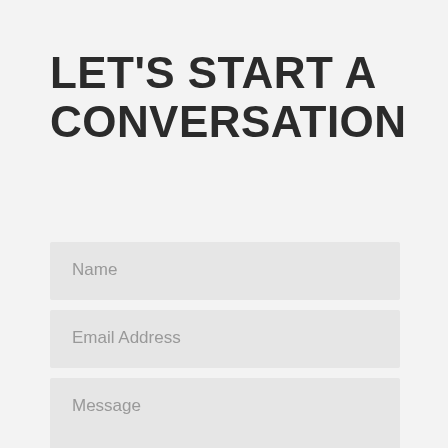LET'S START A CONVERSATION
Name
Email Address
Message